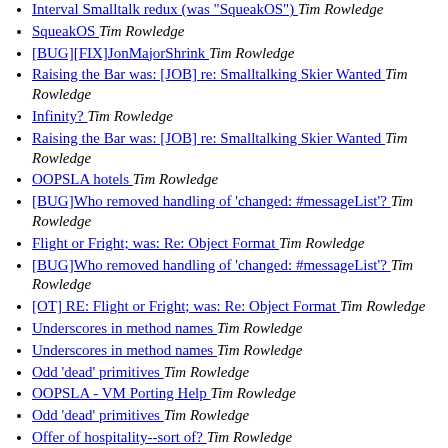Interval Smalltalk redux (was "SqueakOS")  Tim Rowledge
SqueakOS  Tim Rowledge
[BUG][FIX]JonMajorShrink  Tim Rowledge
Raising the Bar was: [JOB] re: Smalltalking Skier Wanted  Tim Rowledge
Infinity?  Tim Rowledge
Raising the Bar was: [JOB] re: Smalltalking Skier Wanted  Tim Rowledge
OOPSLA hotels  Tim Rowledge
[BUG]Who removed handling of 'changed: #messageList'?  Tim Rowledge
Flight or Fright; was: Re: Object Format  Tim Rowledge
[BUG]Who removed handling of 'changed: #messageList'?  Tim Rowledge
[OT] RE: Flight or Fright; was: Re: Object Format  Tim Rowledge
Underscores in method names  Tim Rowledge
Underscores in method names  Tim Rowledge
Odd 'dead' primitives  Tim Rowledge
OOPSLA - VM Porting Help  Tim Rowledge
Odd 'dead' primitives  Tim Rowledge
Offer of hospitality--sort of?  Tim Rowledge
Odd 'dead' primitives  Tim Rowledge
Odd 'dead' primitives  Tim Rowledge